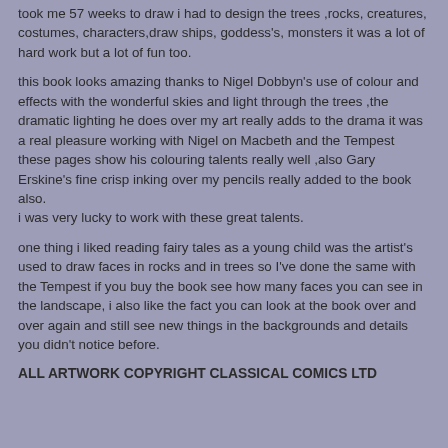took me 57 weeks to draw i had to design the trees ,rocks, creatures, costumes, characters,draw ships, goddess's, monsters it was a lot of hard work but a lot of fun too.
this book looks amazing thanks to Nigel Dobbyn's use of colour and effects with the wonderful skies and light through the trees ,the dramatic lighting he does over my art really adds to the drama it was a real pleasure working with Nigel on Macbeth and the Tempest these pages show his colouring talents really well ,also Gary Erskine's fine crisp inking over my pencils really added to the book also. i was very lucky to work with these great talents.
one thing i liked reading fairy tales as a young child was the artist's used to draw faces in rocks and in trees so I've done the same with the Tempest if you buy the book see how many faces you can see in the landscape, i also like the fact you can look at the book over and over again and still see new things in the backgrounds and details you didn't notice before.
ALL ARTWORK COPYRIGHT CLASSICAL COMICS LTD